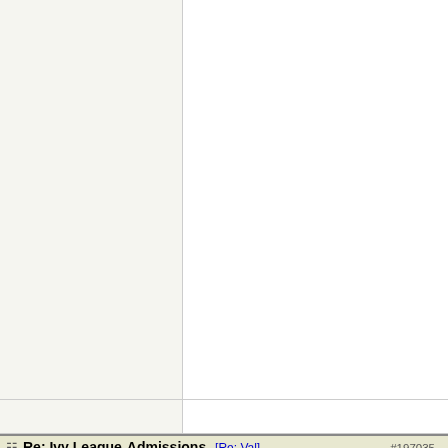some extent how employees... the activities you do when grads... I recall a few recruiters interested in the sport I pa... I have wondered at times a factor in offers I receive... out of college... there was... pull based on the school a... sometimes I wonder, to th... with your GPA/course wor...
Top
Re: Ivy League Admissions. [Re: Val] #197035 -
JonLaw
Member
Registered: 07/29/11
Posts: 2007
Loc: The Sub-Tropics
Originally Posted By: Val
I started reading that earlier today and will finish at lunchtime. This paragraph got me:
Quote:
No one but me knows he fakes being well-read by thumbing through the first and last chapters of a book he hears...